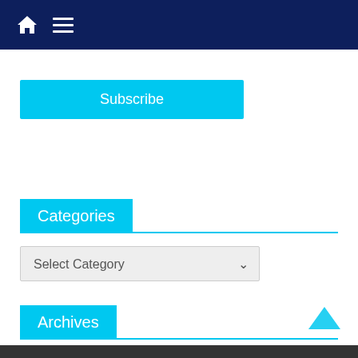Navigation bar with home and menu icons
Subscribe
Categories
Select Category
Archives
Select Month